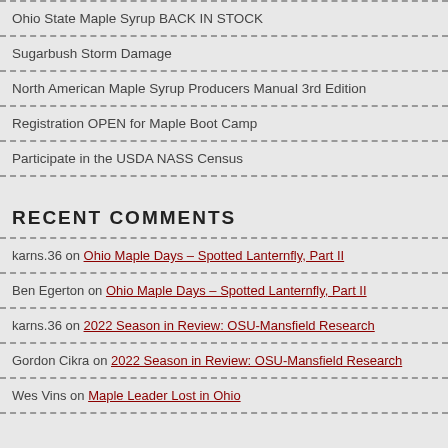Ohio State Maple Syrup BACK IN STOCK
Sugarbush Storm Damage
North American Maple Syrup Producers Manual 3rd Edition
Registration OPEN for Maple Boot Camp
Participate in the USDA NASS Census
RECENT COMMENTS
karns.36 on Ohio Maple Days – Spotted Lanternfly, Part II
Ben Egerton on Ohio Maple Days – Spotted Lanternfly, Part II
karns.36 on 2022 Season in Review: OSU-Mansfield Research
Gordon Cikra on 2022 Season in Review: OSU-Mansfield Research
Wes Vins on Maple Leader Lost in Ohio